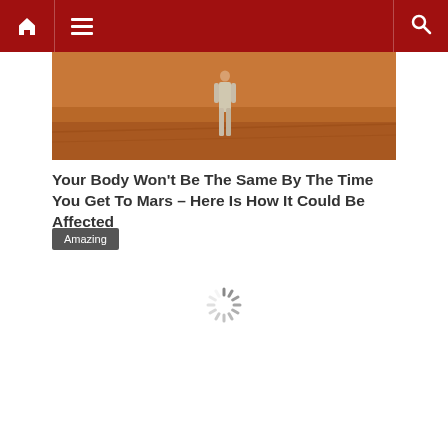Navigation bar with home icon, menu, and search
[Figure (photo): A person walking on a reddish-orange Mars-like terrain surface, viewed from a distance.]
Your Body Won't Be The Same By The Time You Get To Mars – Here Is How It Could Be Affected
Amazing
[Figure (other): Loading spinner animation indicator]